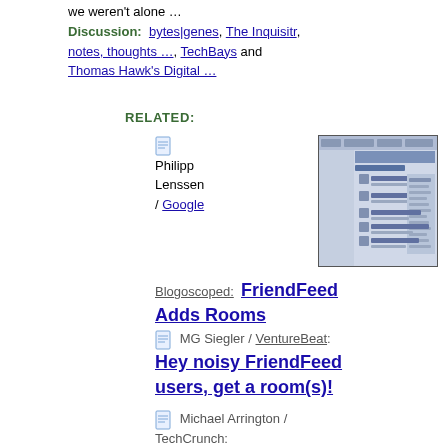we weren't alone …
Discussion: bytes|genes, The Inquisitr, notes, thoughts …, TechBays and Thomas Hawk's Digital …
RELATED:
[Figure (screenshot): Screenshot of a webpage, appears to be a Blogoscoped page]
Philipp Lenssen / Google
Blogoscoped: FriendFeed Adds Rooms
MG Siegler / VentureBeat: Hey noisy FriendFeed users, get a room(s)!
Michael Arrington / TechCrunch: FriendFeed Launches Rooms
Discussion: Rev2.org and SheGeeks
BIZ / Twitter Blog: Our Terms — There's some discussion in our forum right now about